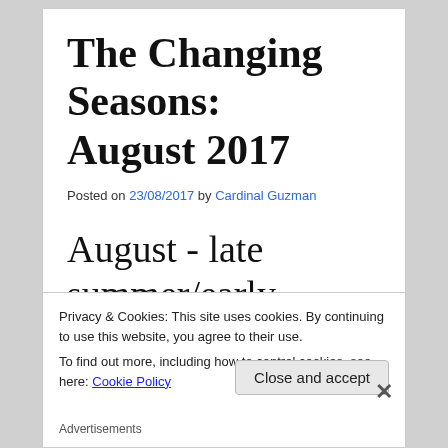The Changing Seasons: August 2017
Posted on 23/08/2017 by Cardinal Guzman
August - late summer/early autumn. The days are
Privacy & Cookies: This site uses cookies. By continuing to use this website, you agree to their use. To find out more, including how to control cookies, see here: Cookie Policy
Close and accept
Advertisements